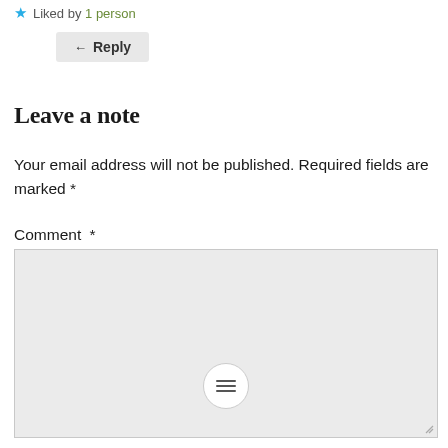★ Liked by 1 person
← Reply
Leave a note
Your email address will not be published. Required fields are marked *
Comment *
[Figure (screenshot): Empty comment textarea input box with resize handle and hamburger/drag icon at bottom center]